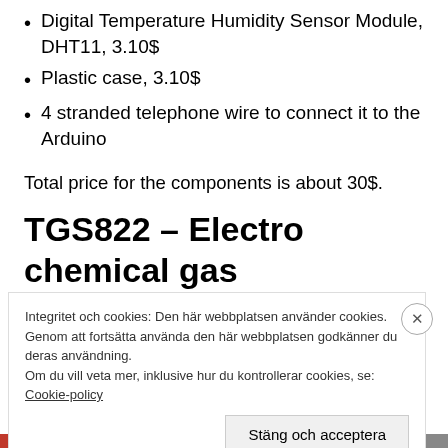Digital Temperature Humidity Sensor Module, DHT11, 3.10$
Plastic case, 3.10$
4 stranded telephone wire to connect it to the Arduino
Total price for the components is about 30$.
TGS822 – Electro chemical gas
Integritet och cookies: Den här webbplatsen använder cookies. Genom att fortsätta använda den här webbplatsen godkänner du deras användning.
Om du vill veta mer, inklusive hur du kontrollerar cookies, se: Cookie-policy
Stäng och acceptera